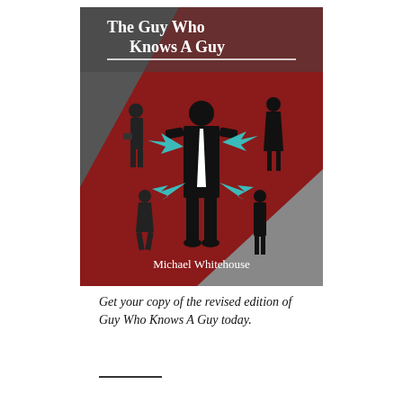[Figure (illustration): Book cover of 'The Guy Who Knows A Guy' by Michael Whitehouse. Dark red and grey background with silhouettes of business people connected by teal arrows to a central male figure in a suit and tie.]
Get your copy of the revised edition of Guy Who Knows A Guy today.